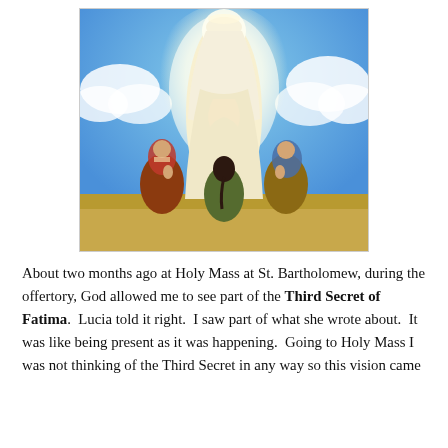[Figure (illustration): Religious illustration showing the Virgin Mary appearing in bright white light, with three children (the Fatima seers) kneeling/standing below her in prayer, set against a blue sky with clouds.]
About two months ago at Holy Mass at St. Bartholomew, during the offertory, God allowed me to see part of the Third Secret of Fatima. Lucia told it right. I saw part of what she wrote about. It was like being present as it was happening. Going to Holy Mass I was not thinking of the Third Secret in any way so this vision came